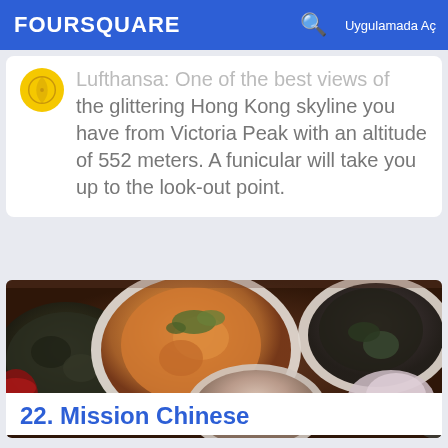FOURSQUARE | Uygulamada Aç
Lufthansa: One of the best views of the glittering Hong Kong skyline you have from Victoria Peak with an altitude of 552 meters. A funicular will take you up to the look-out point.
[Figure (photo): Overhead photo of multiple Chinese food dishes including plates with stir-fried vegetables, a large plate with mixed seafood and garnish, bowls with soup/sauces, and various other dishes on a dark wooden table.]
22. Mission Chinese Food